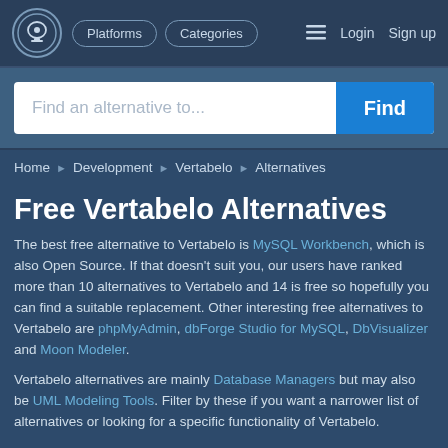Platforms  Categories  Login  Sign up
Find an alternative to...
Home ▶ Development ▶ Vertabelo ▶ Alternatives
Free Vertabelo Alternatives
The best free alternative to Vertabelo is MySQL Workbench, which is also Open Source. If that doesn't suit you, our users have ranked more than 10 alternatives to Vertabelo and 14 is free so hopefully you can find a suitable replacement. Other interesting free alternatives to Vertabelo are phpMyAdmin, dbForge Studio for MySQL, DbVisualizer and Moon Modeler.
Vertabelo alternatives are mainly Database Managers but may also be UML Modeling Tools. Filter by these if you want a narrower list of alternatives or looking for a specific functionality of Vertabelo.